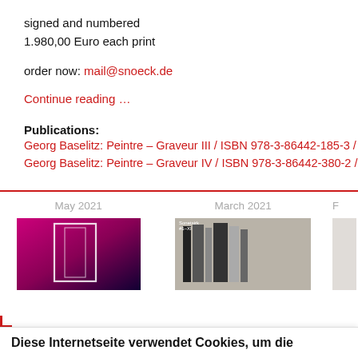signed and numbered
1.980,00 Euro each print
order now: mail@snoeck.de
Continue reading …
Publications:
Georg Baselitz: Peintre – Graveur III / ISBN 978-3-86442-185-3 / 148,
Georg Baselitz: Peintre – Graveur IV / ISBN 978-3-86442-380-2 / 98,0
May 2021
[Figure (photo): Book cover with pink/purple background and white rectangle outline]
March 2021
[Figure (photo): Stack of books with label showing text]
Diese Internetseite verwendet Cookies, um die